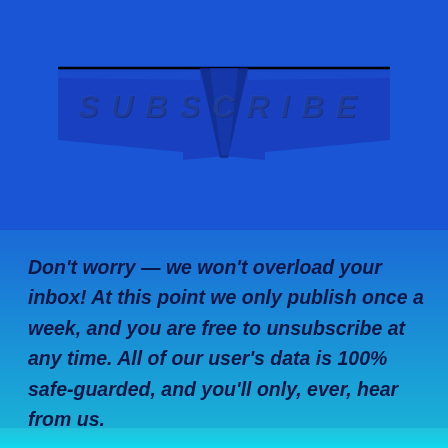[Figure (illustration): Blue subscribe banner with downward-pointing chevron/folded ribbon shape and the word SUBSCRIBE in spaced italic bold letters, on a blue gradient background]
Don't worry — we won't overload your inbox! At this point we only publish once a week, and you are free to unsubscribe at any time. All of our user's data is 100% safe-guarded, and you'll only, ever, hear from us.